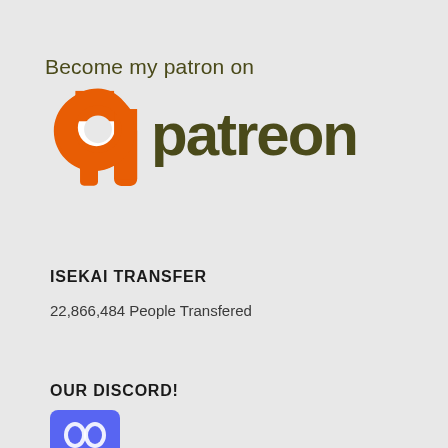[Figure (logo): Patreon logo with orange swirl P icon and text 'Become my patron on patreon']
ISEKAI TRANSFER
22,866,484 People Transfered
OUR DISCORD!
[Figure (logo): Discord logo icon, blue rounded square with white Discord symbol]